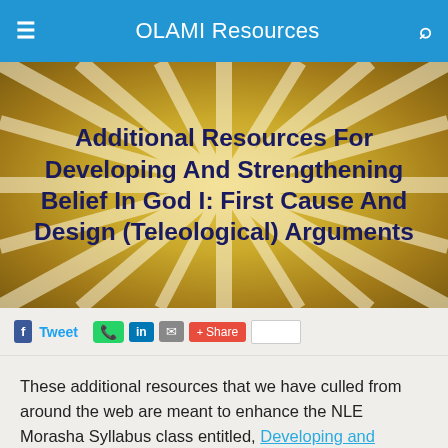OLAMI Resources
Additional Resources For Developing And Strengthening Belief In God I: First Cause And Design (Teleological) Arguments
[Figure (infographic): Social sharing buttons: Facebook, Tweet, WhatsApp, LinkedIn, email, Share, and a white box]
These additional resources that we have culled from around the web are meant to enhance the NLE Morasha Syllabus class entitled, Developing and Strengthening Belief in God I: First Cause and Design (Teleological) Arguments. We are certain that these